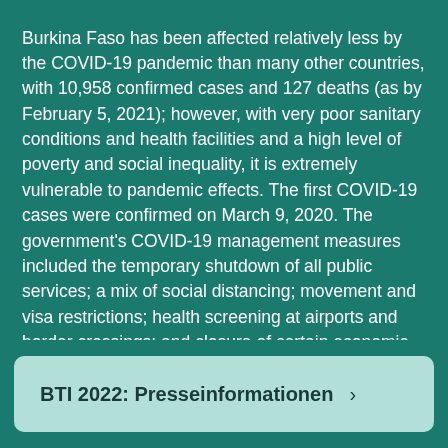Burkina Faso has been affected relatively less by the COVID-19 pandemic than many other countries, with 10,958 confirmed cases and 127 deaths (as by February 5, 2021); however, with very poor sanitary conditions and health facilities and a high level of poverty and social inequality, it is extremely vulnerable to pandemic effects. The first COVID-19 cases were confirmed on March 9, 2020. The government's COVID-19 management measures included the temporary shutdown of all public services; a mix of social distancing; movement and visa restrictions; health screening at airports and border crossings; and closure of certain economic sectors. On March 12, 2020 public gatherings were banned until at least April 30. By virtue of making social gatherings illegal, protests have been virtually banned; several cases of police brutality in curfew enforcements have been reported. Voter registration has been temporarily suspended. On March 18, schools were closed until at least March 31.
BTI 2022: Presseinformationen ›